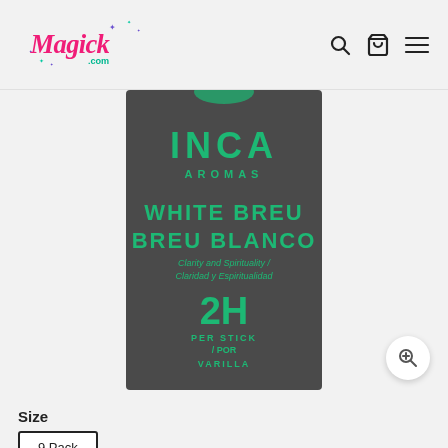Magick.com
[Figure (photo): Dark grey/charcoal colored incense package with teal/green text. Shows 'INCA AROMAS' brand name at top, 'WHITE BREU / BREU BLANCO' product name, subtitle 'Clarity and Spirituality / Claridad y Espiritualidad', and '2H PER STICK / POR VARILLA' burn time.]
Size
9 Pack